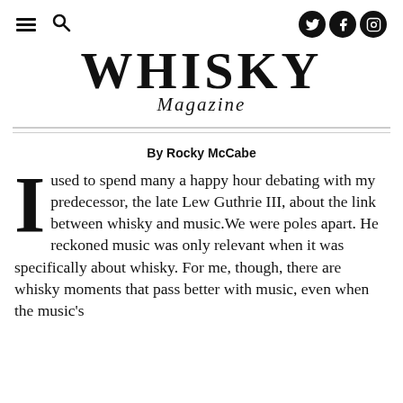WHISKY Magazine
By Rocky McCabe
I used to spend many a happy hour debating with my predecessor, the late Lew Guthrie III, about the link between whisky and music. We were poles apart. He reckoned music was only relevant when it was specifically about whisky. For me, though, there are whisky moments that pass better with music, even when the music's